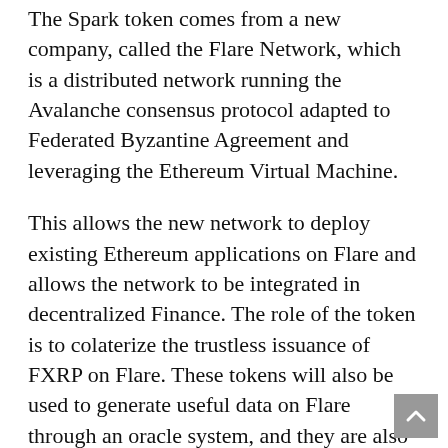The Spark token comes from a new company, called the Flare Network, which is a distributed network running the Avalanche consensus protocol adapted to Federated Byzantine Agreement and leveraging the Ethereum Virtual Machine.
This allows the new network to deploy existing Ethereum applications on Flare and allows the network to be integrated in decentralized Finance. The role of the token is to colaterize the trustless issuance of FXRP on Flare. These tokens will also be used to generate useful data on Flare through an oracle system, and they are also used for network governance and spam prevention.
When there is an issuance of FXRP and the